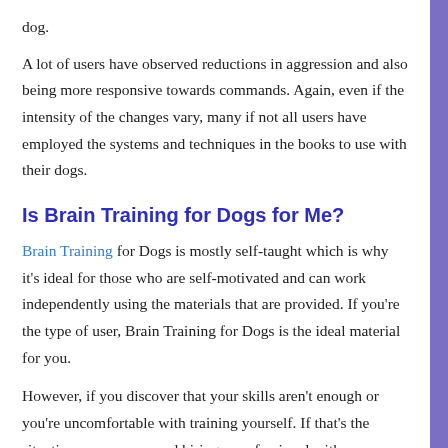dog.
A lot of users have observed reductions in aggression and also being more responsive towards commands. Again, even if the intensity of the changes vary, many if not all users have employed the systems and techniques in the books to use with their dogs.
Is Brain Training for Dogs for Me?
Brain Training for Dogs is mostly self-taught which is why it’s ideal for those who are self-motivated and can work independently using the materials that are provided. If you’re the type of user, Brain Training for Dogs is the ideal material for you.
However, if you discover that your skills aren’t enough or you’re uncomfortable with training yourself. If that’s the situation, we recommend hiring a professional with experience to help you guide your dog through its behavior issues.